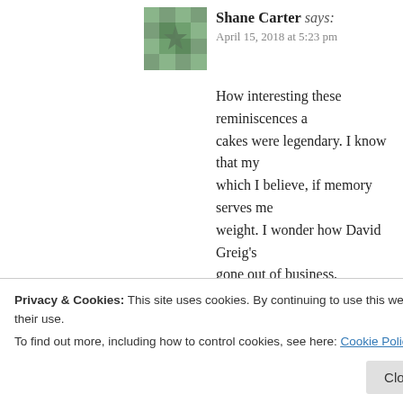Shane Carter says: April 15, 2018 at 5:23 pm
How interesting these reminiscences a... cakes were legendary. I know that my... which I believe, if memory serves me... weight. I wonder how David Greig's ... gone out of business.
Like
William Peabody says: May 16, 2018 at 8:01 pm
Privacy & Cookies: This site uses cookies. By continuing to use this website, you agree to their use.
To find out more, including how to control cookies, see here: Cookie Policy
Close and accept